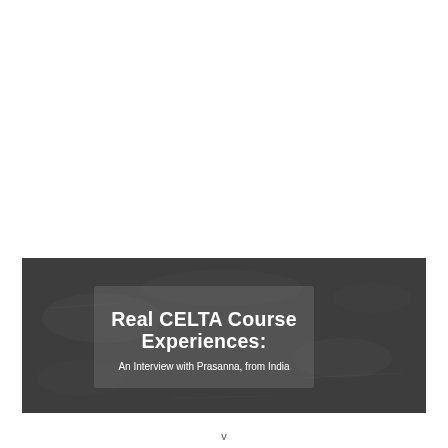[Figure (photo): A dark chalkboard background with a semi-transparent grey overlay box containing the title 'Real CELTA Course Experiences:' in bold white text and the subtitle 'An Interview with Prasanna, from India' in white text.]
v